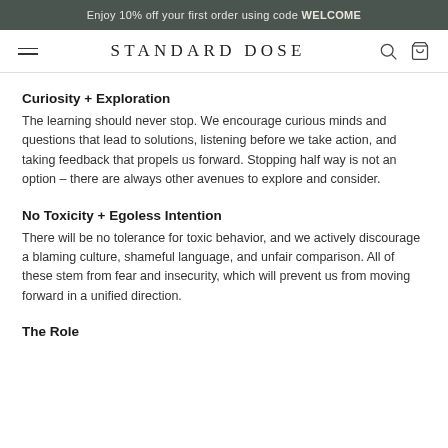Enjoy 10% off your first order using code WELCOME
STANDARD DOSE
Curiosity + Exploration
The learning should never stop. We encourage curious minds and questions that lead to solutions, listening before we take action, and taking feedback that propels us forward. Stopping half way is not an option – there are always other avenues to explore and consider.
No Toxicity + Egoless Intention
There will be no tolerance for toxic behavior, and we actively discourage a blaming culture, shameful language, and unfair comparison. All of these stem from fear and insecurity, which will prevent us from moving forward in a unified direction.
The Role